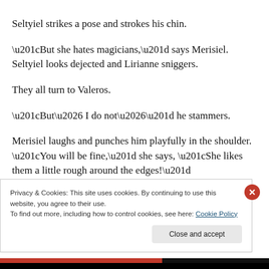Seltyiel strikes a pose and strokes his chin.
“But she hates magicians,” says Merisiel. Seltyiel looks dejected and Lirianne sniggers.
They all turn to Valeros.
“But… I do not…” he stammers.
Merisiel laughs and punches him playfully in the shoulder. “You will be fine,” she says, “She likes them a little rough around the edges!”
Privacy & Cookies: This site uses cookies. By continuing to use this website, you agree to their use.
To find out more, including how to control cookies, see here: Cookie Policy